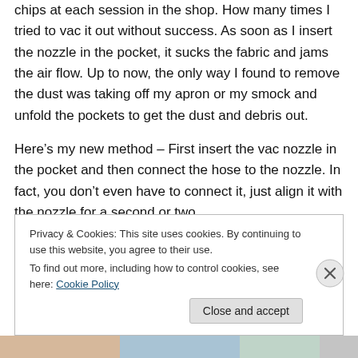chips at each session in the shop. How many times I tried to vac it out without success. As soon as I insert the nozzle in the pocket, it sucks the fabric and jams the air flow. Up to now, the only way I found to remove the dust was taking off my apron or my smock and unfold the pockets to get the dust and debris out.
Here’s my new method – First insert the vac nozzle in the pocket and then connect the hose to the nozzle. In fact, you don’t even have to connect it, just align it with the nozzle for a second or two.
Privacy & Cookies: This site uses cookies. By continuing to use this website, you agree to their use.
To find out more, including how to control cookies, see here: Cookie Policy